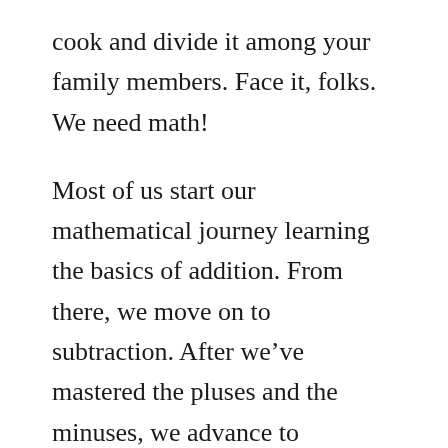cook and divide it among your family members. Face it, folks. We need math!
Most of us start our mathematical journey learning the basics of addition. From there, we move on to subtraction. After we've mastered the pluses and the minuses, we advance to multiplication and division. Sooner or later, we all reach the point where we make the leap into more advanced math. What are we talking about? Algebra, of course!